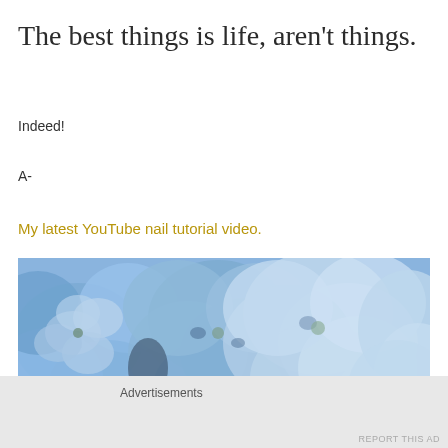The best things is life, aren't things.
Indeed!
A-
My latest YouTube nail tutorial video.
[Figure (photo): Close-up photograph of blue and light purple hydrangea flowers filling the frame.]
Advertisements